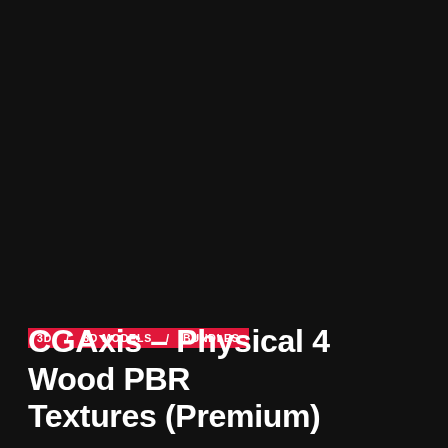3D / 3D MODELS / BUNDLES
CGAxis – Physical 4 Wood PBR Textures (Premium)